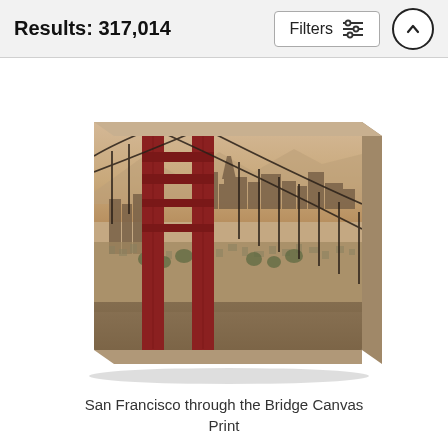Results: 317,014
[Figure (screenshot): Filters button with sliders icon and up-arrow circle button in top navigation bar]
[Figure (photo): A canvas print product showing a sepia-toned photo of the Golden Gate Bridge tower with San Francisco skyline in the background, displayed as a 3D canvas wrap on a white surface]
San Francisco through the Bridge Canvas Print